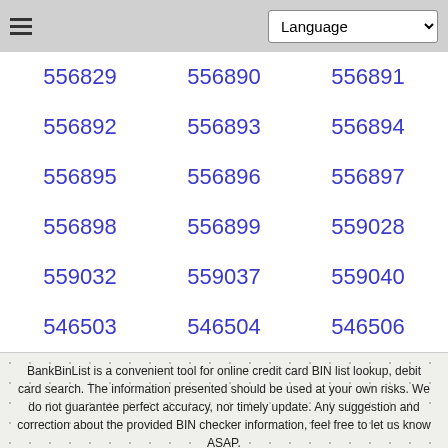Language
556829
556890
556891
556892
556893
556894
556895
556896
556897
556898
556899
559028
559032
559037
559040
546503
546504
546506
BankBinList is a convenient tool for online credit card BIN list lookup, debit card search. The information presented should be used at your own risks. We do not guarantee perfect accuracy, nor timely update. Any suggestion and correction about the provided BIN checker information, feel free to let us know ASAP.
Privacy Policy   Contact   Twitter